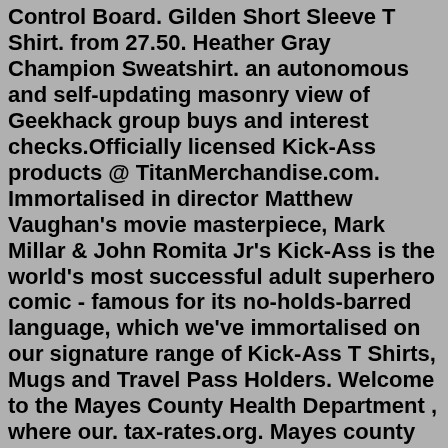Control Board. Gilden Short Sleeve T Shirt. from 27.50. Heather Gray Champion Sweatshirt. an autonomous and self-updating masonry view of Geekhack group buys and interest checks.Officially licensed Kick-Ass products @ TitanMerchandise.com. Immortalised in director Matthew Vaughan's movie masterpiece, Mark Millar & John Romita Jr's Kick-Ass is the world's most successful adult superhero comic - famous for its no-holds-barred language, which we've immortalised on our signature range of Kick-Ass T Shirts, Mugs and Travel Pass Holders. Welcome to the Mayes County Health Department , where our. tax-rates.org. Mayes county property records Tulsa County Headquarters. 218 W. 6th St. Tulsa, OK 74119-1004. 918-596-5000. OBITUARY SUBMITTED BY: Little Rock Funeral Home 8801 Dec 09, 2021 · Racy Casey, Scott Stephens, Vic and John Blanc, Scott “Animal” Teasley just to name a few. Opal was married to the late John W. 24, 2021, of both. View the daily YouTube analytics of KKandbabyJ and track progress charts, view future